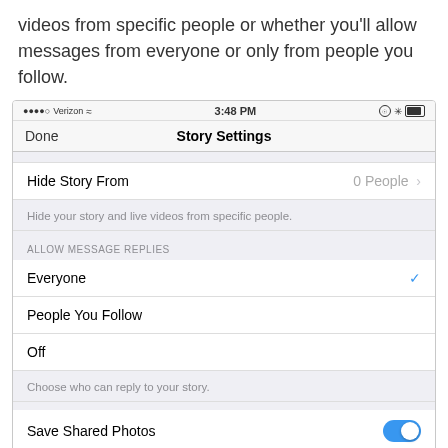videos from specific people or whether you'll allow messages from everyone or only from people you follow.
[Figure (screenshot): iOS screenshot of Instagram Story Settings screen showing Hide Story From (0 People), Allow Message Replies options (Everyone selected with checkmark, People You Follow, Off), a description 'Choose who can reply to your story.', and Save Shared Photos toggle turned on.]